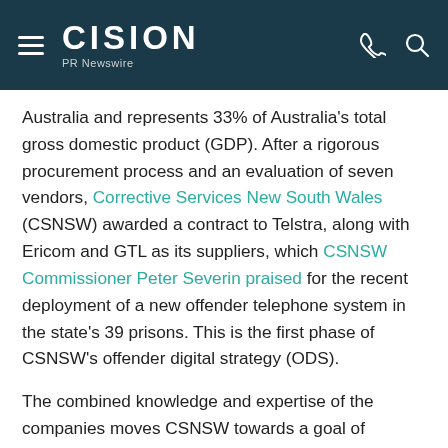CISION PR Newswire
Australia and represents 33% of Australia's total gross domestic product (GDP). After a rigorous procurement process and an evaluation of seven vendors, Corrective Services New South Wales (CSNSW) awarded a contract to Telstra, along with Ericom and GTL as its suppliers, which CSNSW Commissioner Peter Severin praised for the recent deployment of a new offender telephone system in the state's 39 prisons. This is the first phase of CSNSW's offender digital strategy (ODS).
The combined knowledge and expertise of the companies moves CSNSW towards a goal of digitising its systems. Telstra understands the need of